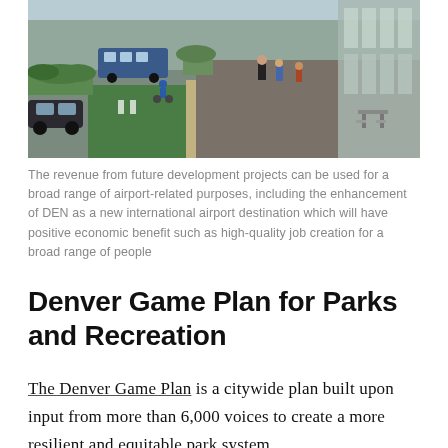[Figure (photo): Street-level rendering of a green bike lane and pedestrian path alongside a road, with cyclists, pedestrians, landscaping, and a glass building entrance visible.]
The revenue from future development projects can be used for a broad range of airport-related purposes, including the enhancement of DEN as a new international airport destination which will have positive economic benefit such as high-quality job creation for a broad range of people
Denver Game Plan for Parks and Recreation
The Denver Game Plan is a citywide plan built upon input from more than 6,000 voices to create a more resilient and equitable park system